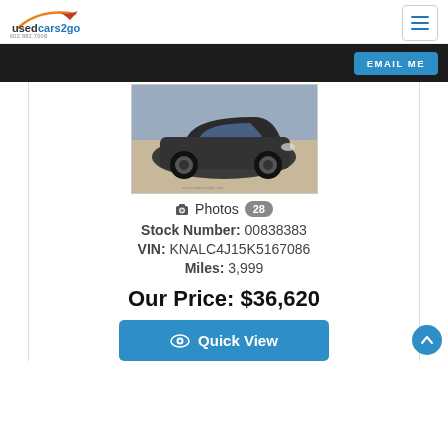usedcars2go 602.882.7008
EMAIL ME
[Figure (photo): Dark gray used car (sedan/sports car) photographed in a parking lot, front three-quarter view]
Photos 28
Stock Number: 00838383
VIN: KNALC4J15K5167086
Miles: 3,999
Our Price: $36,620
Quick View